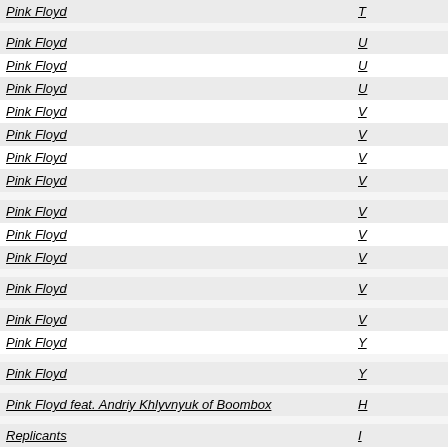| Artist | Song/Album |
| --- | --- |
| Pink Floyd | T... |
| Pink Floyd | U... |
| Pink Floyd | U... |
| Pink Floyd | U... |
| Pink Floyd | V... |
| Pink Floyd | V... |
| Pink Floyd | V... |
| Pink Floyd | V... |
| Pink Floyd | V... |
| Pink Floyd | V... |
| Pink Floyd | V... |
| Pink Floyd | V... |
| Pink Floyd | V... |
| Pink Floyd | V... |
| Pink Floyd | Y... |
| Pink Floyd | Y... |
| Pink Floyd feat. Andriy Khlyvnyuk of Boombox | H... |
| Replicants | I... |
| Richie Havens | C... |
| Rodrigo Y Gabriela | E... |
| Rosebud [1970s] | M... |
| Rosebud [1970s] | O... |